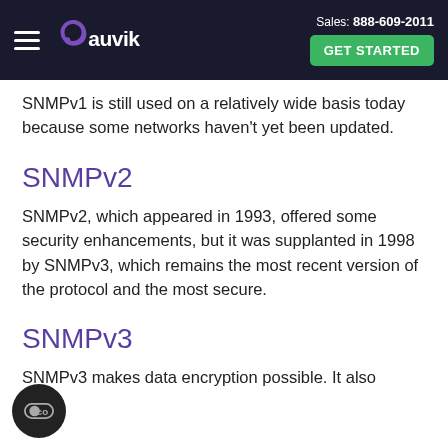Sales: 888-609-2011  GET STARTED  [Auvik logo]
SNMPv1 is still used on a relatively wide basis today because some networks haven't yet been updated.
SNMPv2
SNMPv2, which appeared in 1993, offered some security enhancements, but it was supplanted in 1998 by SNMPv3, which remains the most recent version of the protocol and the most secure.
SNMPv3
SNMPv3 makes data encryption possible. It also